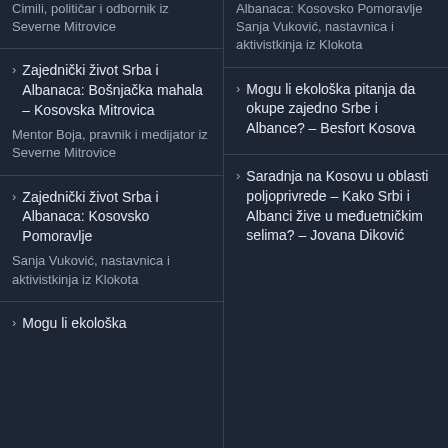Cimili, političar i odbornik iz Severne Mitrovice
Zajednički život Srba i Albanaca: Bošnjačka mahala – Kosovska Mitrovica
Mentor Boja, pravnik i medijator iz Severne Mitrovice
Zajednički život Srba i Albanaca: Kosovsko Pomoravlje
Sanja Vuković, nastavnica i aktivistkinja iz Klokota
Mogu li ekološka pitanja da okupe zajedno Srbe i Albance? – Besfort Kosova
Albanaca: Kosovsko Pomoravlje
Sanja Vuković, nastavnica i aktivistkinja iz Klokota
Mogu li ekološka pitanja da okupe zajedno Srbe i Albance? – Besfort Kosova
Saradnja na Kosovu u oblasti poljoprivrede – Kako Srbi i Albanci žive u međuetničkim selima? – Jovana Diković
Mogu li ekološka